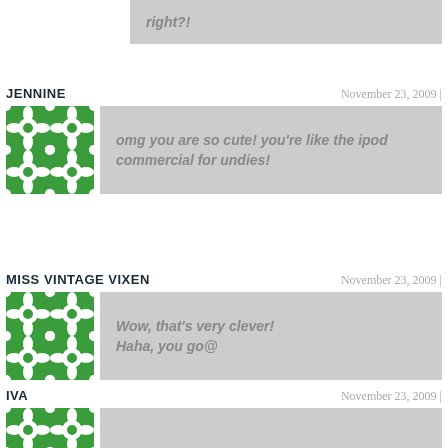right?!
JENNINE
November 23, 2009 |
[Figure (illustration): Green and white geometric/floral pattern avatar for Jennine]
omg you are so cute! you're like the ipod commercial for undies!
MISS VINTAGE VIXEN
November 23, 2009 |
[Figure (illustration): Green and white geometric/floral pattern avatar for Miss Vintage Vixen]
Wow, that's very clever! Haha, you go@
IVA
November 23, 2009 |
[Figure (illustration): Green and white geometric/floral pattern avatar for Iva (partial)]